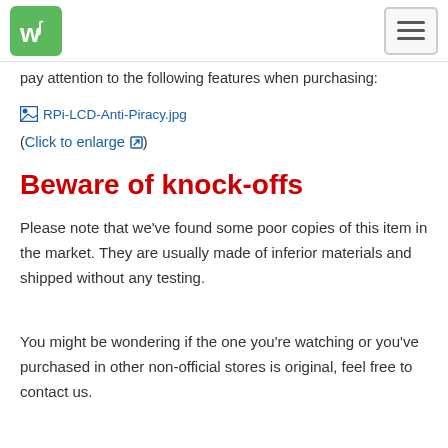Waveshare logo and navigation menu
pay attention to the following features when purchasing:
[Figure (illustration): Broken image placeholder for RPi-LCD-Anti-Piracy.jpg]
(Click to enlarge)
Beware of knock-offs
Please note that we've found some poor copies of this item in the market. They are usually made of inferior materials and shipped without any testing.
You might be wondering if the one you're watching or you've purchased in other non-official stores is original, feel free to contact us.